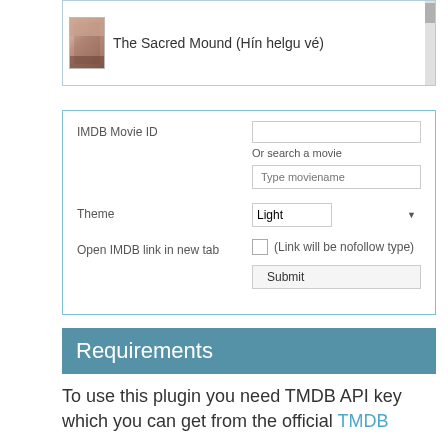[Figure (screenshot): Movie search result panel showing a movie poster thumbnail for 'The Sacred Mound (Hín helgu vé)' with a scrollbar on the right]
[Figure (screenshot): WordPress plugin settings form with fields: IMDB Movie ID (text input), Or search a movie (text input placeholder 'Type moviename'), Theme (dropdown set to 'Light'), Open IMDB link in new tab (checkbox with label '(Link will be nofollow type)'), and a Submit button]
Requirements
To use this plugin you need TMDB API key which you can get from the official TMDB website. More detail on settings page.